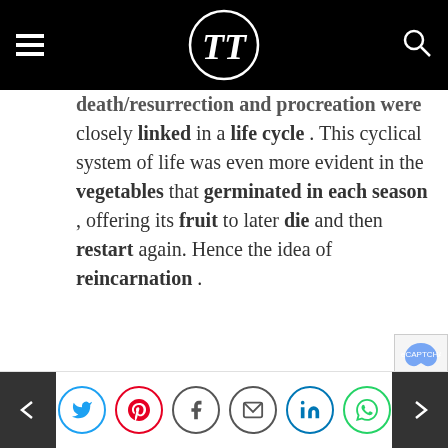TT logo navigation bar with hamburger menu and search icon
death/resurrection and procreation were closely linked in a life cycle. This cyclical system of life was even more evident in the vegetables that germinated in each season, offering its fruit to later die and then restart again. Hence the idea of reincarnation.
Social share icons: Twitter, Pinterest, Facebook, Email, LinkedIn, WhatsApp. Previous and Next navigation arrows.